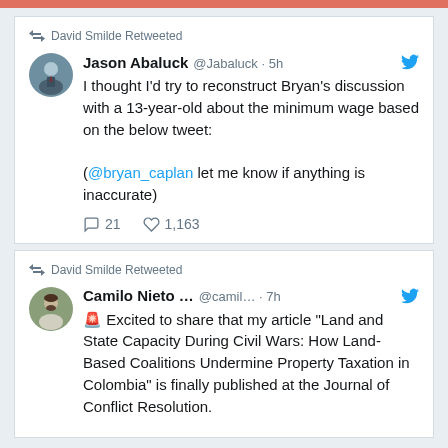David Smilde Retweeted
Jason Abaluck @Jabaluck · 5h
I thought I'd try to reconstruct Bryan's discussion with a 13-year-old about the minimum wage based on the below tweet:

(@bryan_caplan let me know if anything is inaccurate)
21 replies, 1,163 likes
David Smilde Retweeted
Camilo Nieto ... @camil... · 7h
🚨 Excited to share that my article "Land and State Capacity During Civil Wars: How Land-Based Coalitions Undermine Property Taxation in Colombia" is finally published at the Journal of Conflict Resolution.